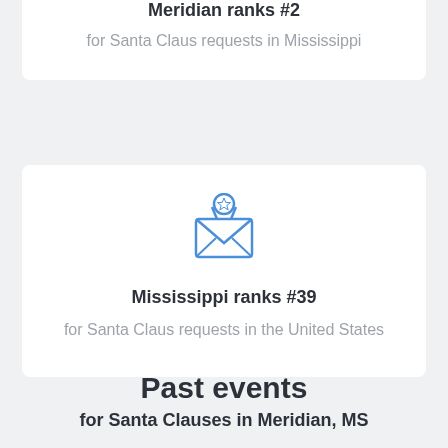Meridian ranks #2
for Santa Claus requests in Mississippi
[Figure (illustration): An open envelope icon with a star badge/medal on top, drawn in blue outline style]
Mississippi ranks #39
for Santa Claus requests in the United States
Past events
for Santa Clauses in Meridian, MS